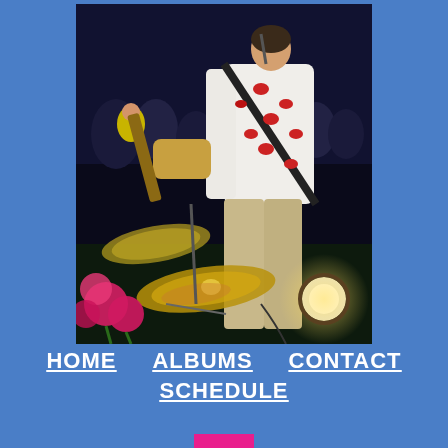[Figure (photo): A guitarist performing outdoors at night, wearing a white jacket with red Rolling Stones tongue logos, playing a guitar with his back to camera. Drum cymbals and pink flowers visible in the foreground, audience in the background.]
HOME   ALBUMS   CONTACT
SCHEDULE